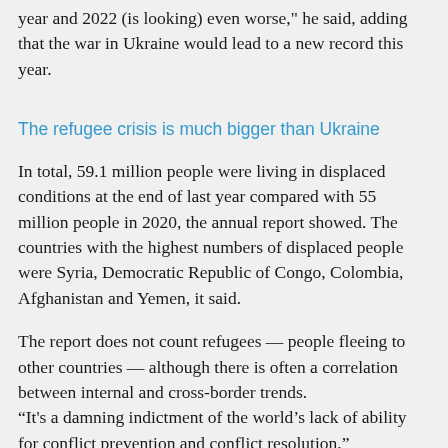'2021 was, as we documented here, a very difficult year and 2022 (is looking) even worse,' he said, adding that the war in Ukraine would lead to a new record this year.
The refugee crisis is much bigger than Ukraine
In total, 59.1 million people were living in displaced conditions at the end of last year compared with 55 million people in 2020, the annual report showed. The countries with the highest numbers of displaced people were Syria, Democratic Republic of Congo, Colombia, Afghanistan and Yemen, it said.
The report does not count refugees — people fleeing to other countries — although there is often a correlation between internal and cross-border trends.
“It's a damning indictment of the world’s lack of ability for conflict prevention and conflict resolution,”